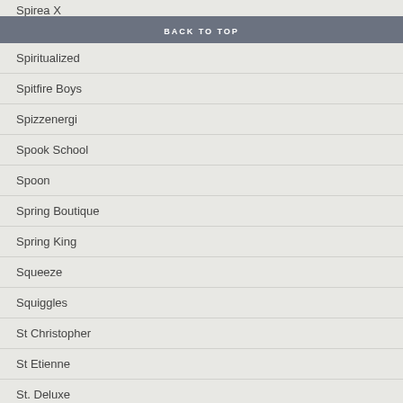Spirea X
BACK TO TOP
Spiritualized
Spitfire Boys
Spizzenergi
Spook School
Spoon
Spring Boutique
Spring King
Squeeze
Squiggles
St Christopher
St Etienne
St. Deluxe